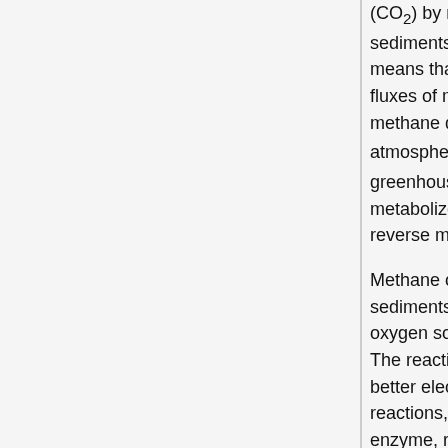(CO2) by microbes in both marine and freshwater sediments. The ability of microbes to degrade methane means that there is a methane sink which can mediate fluxes of methane into the atmosphere. Although methane degradation results in greater CO2 flux into the atmosphere, CO2 has less impact than methane as a greenhouse gas. Bacteria and archaea that can metabolize methane are called methanotrophs and reverse methanogens, respectively.
Methane oxidation can occur in oxic and anoxic sediments. Aerobic metabolism of methane requires oxygen so that the methane molecule can be activated. The reaction with oxygen forms methanol, which is a better electron donor than methane. A series of oxidation reactions, where each reaction utilizes a different enzyme, results in the production of CO2. Methylococcus capsulatus is the most well-studied aerobic methanotroph (Oremland, 2010).
There are two known types of anaerobic oxidation functions. One of the two types of